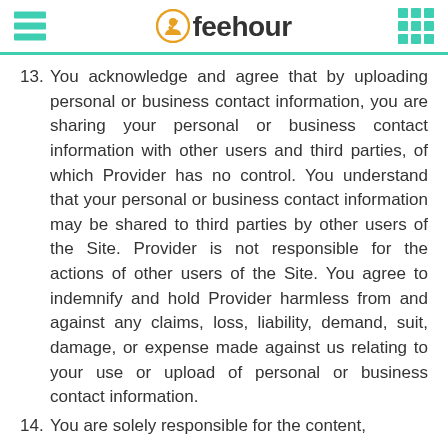feehour
13. You acknowledge and agree that by uploading personal or business contact information, you are sharing your personal or business contact information with other users and third parties, of which Provider has no control. You understand that your personal or business contact information may be shared to third parties by other users of the Site. Provider is not responsible for the actions of other users of the Site. You agree to indemnify and hold Provider harmless from and against any claims, loss, liability, demand, suit, damage, or expense made against us relating to your use or upload of personal or business contact information.
14. You are solely responsible for the content,